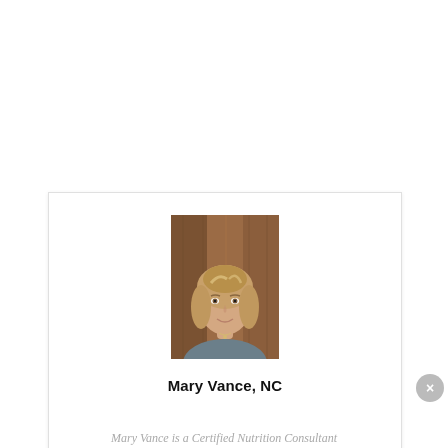[Figure (photo): Portrait photo of Mary Vance, NC — a woman with shoulder-length blonde-highlighted hair, wearing a grey top, smiling, with a warm brown wooden background.]
Mary Vance, NC
Mary Vance is a Certified Nutrition Consultant